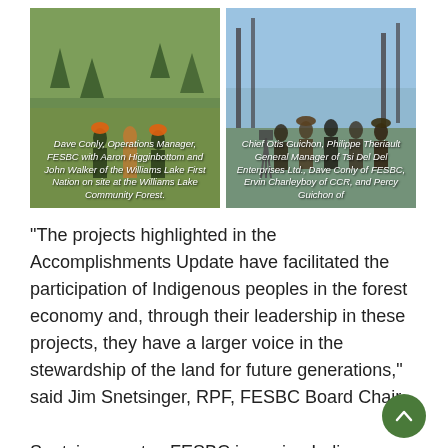[Figure (photo): Dave Conly, Operations Manager, FESBC with Aaron Higginbottom and John Walker of the Williams Lake First Nation on site at the Williams Lake Community Forest.]
[Figure (photo): Chief Otis Guichon, Philippe Theriault General Manager of Tsi Del Del Enterprises Ltd., Dave Conly of FESBC, Ervin Charleyboy of CCR, and Percy Guichon of [continues]]
“The projects highlighted in the Accomplishments Update have facilitated the participation of Indigenous peoples in the forest economy and, through their leadership in these projects, they have a larger voice in the stewardship of the land for future generations,” said Jim Snetsinger, RPF, FESBC Board Chair.
Snetsinger notes FESBC is seeing Indigenous values and interests increasingly reflected in project outcomes.